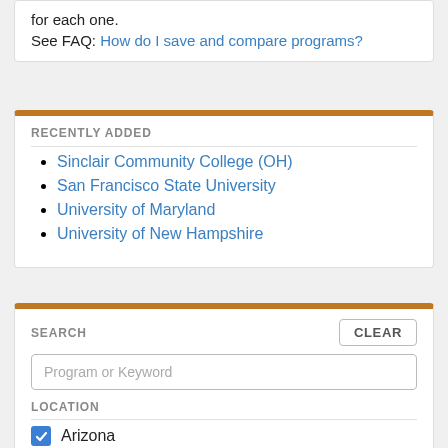for each one.
See FAQ: How do I save and compare programs?
RECENTLY ADDED
Sinclair Community College (OH)
San Francisco State University
University of Maryland
University of New Hampshire
SEARCH
Program or Keyword
LOCATION
Arizona
Colorado
Iowa